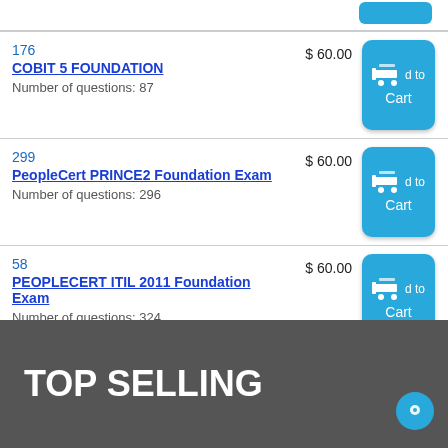| # | Product | Price | Action |
| --- | --- | --- | --- |
| 176 | COBIT 5 FOUNDATION
Number of questions: 87 | $ 60.00 | Add to Cart |
| 299 | PeopleCert PRINCE2 Foundation Exam
Number of questions: 296 | $ 60.00 | Add to Cart |
| 58 | PEOPLECERT ITIL 2011 Foundation Exam
Number of questions: 324 | $ 60.00 | Add to Cart |
TOP SELLING